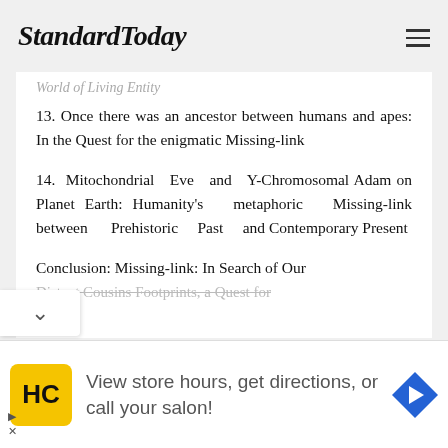StandardToday
World of Living Entity
13. Once there was an ancestor between humans and apes: In the Quest for the enigmatic Missing-link
14. Mitochondrial Eve and Y-Chromosomal Adam on Planet Earth: Humanity's metaphoric Missing-link between Prehistoric Past and Contemporary Present
Conclusion: Missing-link: In Search of Our Distant Cousins Footprints, a Quest for
View store hours, get directions, or call your salon!